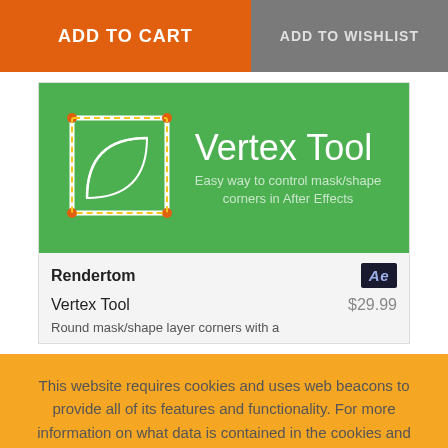ADD TO CART
ADD TO WISHLIST
[Figure (illustration): Vertex Tool product banner on green background with leaf/shape icon and text: Vertex Tool, Easy way to control mask/shape corners in After Effects]
Rendertom
Vertex Tool $29.99
Round mask/shape layer corners with a
This website requires cookies and uses web beacons to provide all of its features and functionality. For more information on what data is contained in the cookies and what is transmitted with the web beacons, please see our Privacy Policy page.
ACCEPT AND CONTINUE